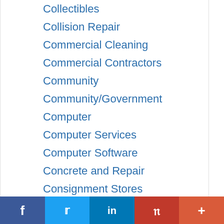Collectibles
Collision Repair
Commercial Cleaning
Commercial Contractors
Community
Community/Government
Computer
Computer Services
Computer Software
Concrete and Repair
Consignment Stores
Construction
Construction Services
Consultants
f  [Twitter]  in  [Pinterest]  +